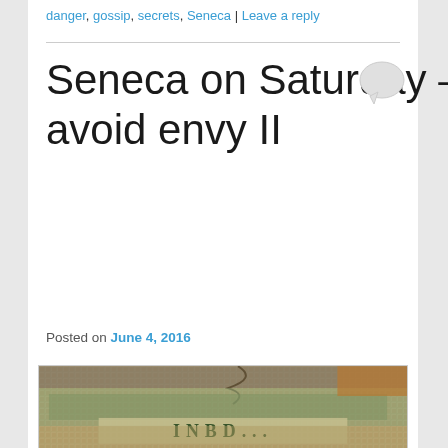danger, gossip, secrets, Seneca | Leave a reply
Seneca on Saturday — how to avoid envy II
Posted on June 4, 2016
[Figure (photo): Close-up photograph of an ancient Roman mosaic with the text 'INBID' or similar Latin inscription visible, with green and earth-tone tesserae.]